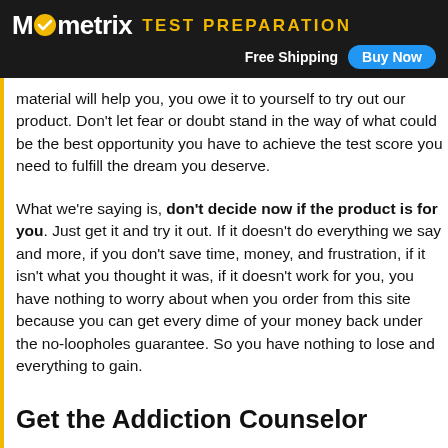Mometrix TEST PREPARATION | Free Shipping | Buy Now
material will help you, you owe it to yourself to try out our product. Don't let fear or doubt stand in the way of what could be the best opportunity you have to achieve the test score you need to fulfill the dream you deserve.
What we're saying is, don't decide now if the product is for you. Just get it and try it out. If it doesn't do everything we say and more, if you don't save time, money, and frustration, if it isn't what you thought it was, if it doesn't work for you, you have nothing to worry about when you order from this site because you can get every dime of your money back under the no-loopholes guarantee. So you have nothing to lose and everything to gain.
Get the Addiction Counselor